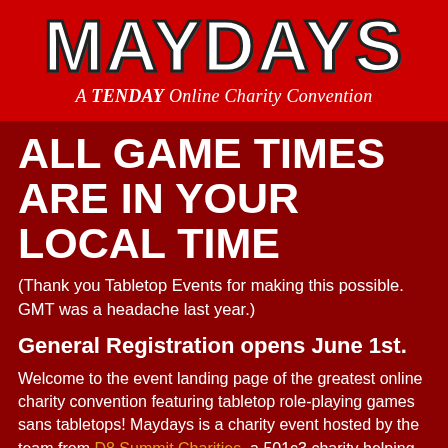MAYDAYS
A TENDAY Online Charity Convention
ALL GAME TIMES ARE IN YOUR LOCAL TIME
(Thank you Tabletop Events for making this possible. GMT was a headache last year.)
General Registration opens June 1st.
Welcome to the event landing page of the greatest online charity convention featuring tabletop role-playing games sans tabletops! Maydays is a charity event hosted by the team from D8 Summit Charities, a 501c3 charity helping gaming events raise money for quality causes.